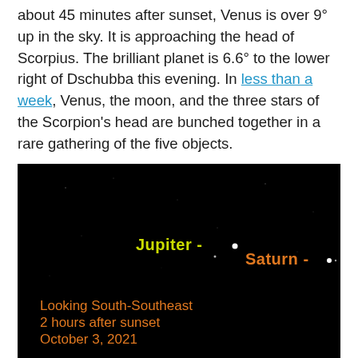about 45 minutes after sunset, Venus is over 9° up in the sky. It is approaching the head of Scorpius. The brilliant planet is 6.6° to the lower right of Dschubba this evening. In less than a week, Venus, the moon, and the three stars of the Scorpion's head are bunched together in a rare gathering of the five objects.
[Figure (photo): Night sky photograph showing Jupiter and Saturn labeled with orange/yellow text against a black background, with small white dots indicating the planets. Text overlay reads: 'Looking South-Southeast / 2 hours after sunset / October 3, 2021']